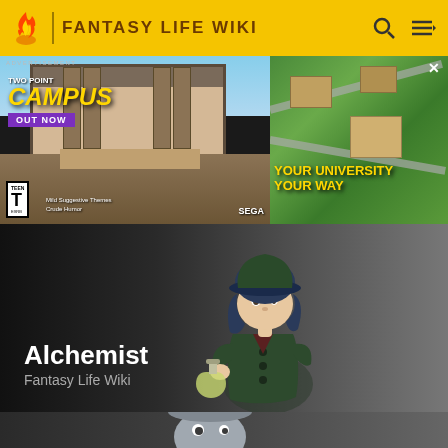FANTASY LIFE WIKI
[Figure (screenshot): Two Point Campus advertisement banner showing game characters in front of a university building, with 'OUT NOW' button, ESRB Teen rating, and 'YOUR UNIVERSITY YOUR WAY' tagline on the right side]
[Figure (illustration): Fantasy Life Wiki Alchemist character - a small cartoonish character wearing a dark green coat and hat, holding a flask with liquid]
Alchemist
Fantasy Life Wiki
[Figure (illustration): Partially visible Fantasy Life Wiki character at the bottom of the page]